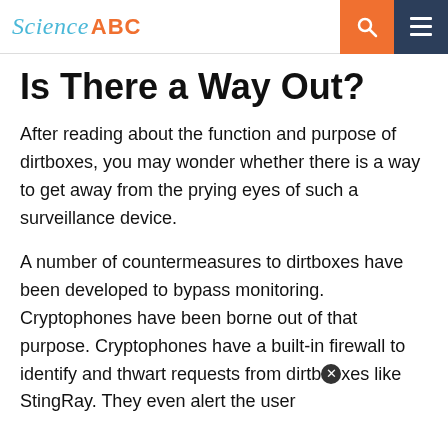Science ABC
Is There a Way Out?
After reading about the function and purpose of dirtboxes, you may wonder whether there is a way to get away from the prying eyes of such a surveillance device.
A number of countermeasures to dirtboxes have been developed to bypass monitoring. Cryptophones have been borne out of that purpose. Cryptophones have a built-in firewall to identify and thwart requests from dirtboxes like StingRay. They even alert the user